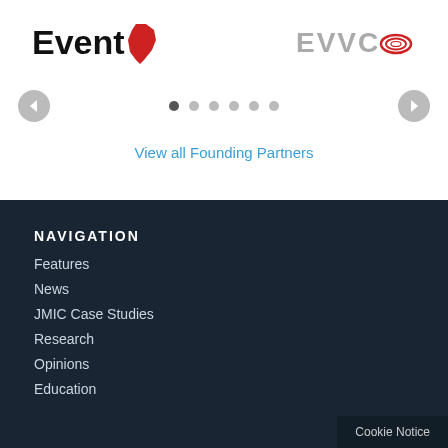[Figure (logo): EventAfrica logo with red Africa continent icon]
[Figure (logo): EVVCO logo with grey text and red swirl graphic]
[Figure (other): Carousel navigation with left arrow, 6 dots (first active), and right arrow]
View all Founding Partners
NAVIGATION
Features
News
JMIC Case Studies
Research
Opinions
Education
Cookie Notice